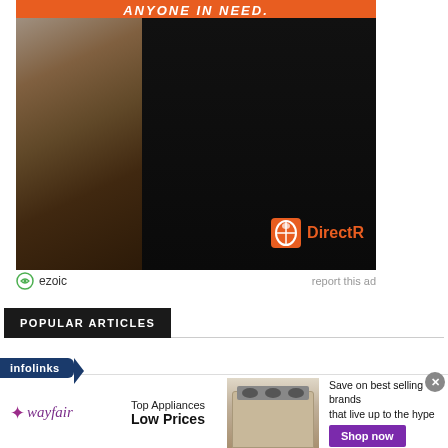[Figure (photo): Advertisement photo showing a person in a black jacket with DirectRelief logo against a disaster rubble background. Orange banner text at top reads 'ANYONE IN NEED.']
ezoic   report this ad
POPULAR ARTICLES
[Figure (other): infolinks navigation bar]
[Figure (other): Wayfair advertisement: Top Appliances Low Prices - Save on best selling brands that live up to the hype. Shop now button. Shows appliance photo.]